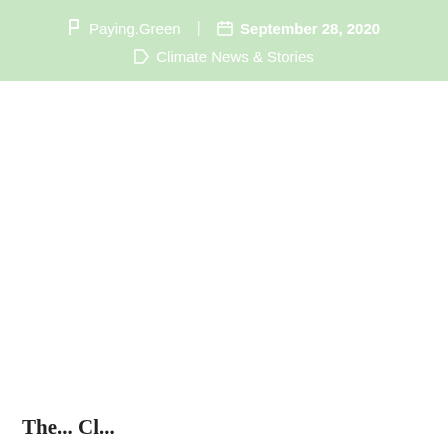Paying.Green | September 28, 2020 | Climate News & Stories
The... Cl...